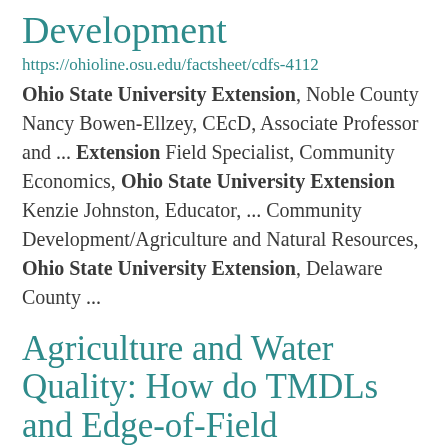Development
https://ohioline.osu.edu/factsheet/cdfs-4112
Ohio State University Extension, Noble County Nancy Bowen-Ellzey, CEcD, Associate Professor and ... Extension Field Specialist, Community Economics, Ohio State University Extension Kenzie Johnston, Educator, ... Community Development/Agriculture and Natural Resources, Ohio State University Extension, Delaware County ...
Agriculture and Water Quality: How do TMDLs and Edge-of-Field